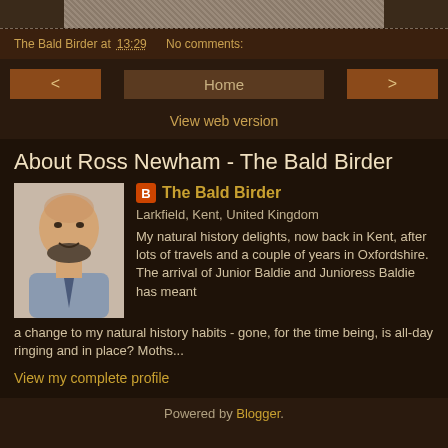[Figure (photo): Cropped top portion of an image, appearing to show a textured/natural scene]
The Bald Birder at 13:29   No comments:
< Home >
View web version
About Ross Newham - The Bald Birder
The Bald Birder
Larkfield, Kent, United Kingdom
My natural history delights, now back in Kent, after lots of travels and a couple of years in Oxfordshire. The arrival of Junior Baldie and Junioress Baldie has meant a change to my natural history habits - gone, for the time being, is all-day ringing and in place? Moths...
View my complete profile
Powered by Blogger.